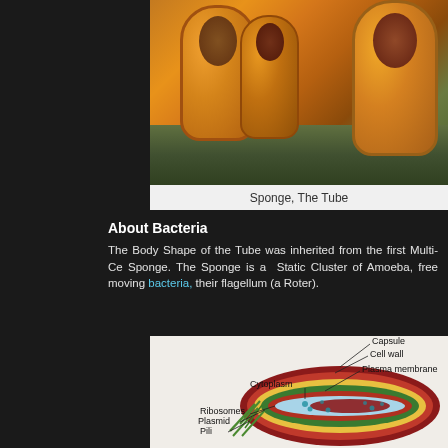[Figure (photo): Photograph of tube sponges underwater, showing cylindrical orange/yellow tube-shaped sponges with hollow openings at the top, with coral background]
Sponge, The Tube
About Bacteria
The Body Shape of the Tube was inherited from the first Multi-Ce Sponge. The Sponge is a Static Cluster of Amoeba, free moving bacteria, their flagellum (a Roter).
[Figure (illustration): Labeled diagram of a bacterial cell cross-section showing: Capsule, Cell wall, Plasma membrane, Cytoplasm, Ribosomes, Plasmid, Pili. The illustration shows a 3D cutaway view with concentric layers in red, yellow, and green, with a light blue interior containing red nucleoid material and teal dots.]